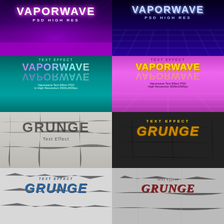[Figure (illustration): Vaporwave PSD High Res text effect with purple ray burst background, white bold stylized VAPORWAVE text, subtitle PSD HIGH RES]
[Figure (illustration): Vaporwave PSD High Res text effect with dark blue retro grid background, glowing VAPORWAVE text, subtitle PSD HIGH RES]
[Figure (illustration): Vaporwave Text Effect PSD teal background, rainbow gradient VAPORWAVE text with mirror reflection, caption: Vaporwave Text Effect PSD in High Resolution 3500x2500px]
[Figure (illustration): Vaporwave Text Effect PSD pink/purple background, gold VAPORWAVE text with reflection, caption: Vaporwave Text Effect PSD High Resolution 3500x2500px]
[Figure (illustration): Grunge Text Effect on crumpled white paper texture, dark stencil GRUNGE text, subtitle Text Effect]
[Figure (illustration): Grunge Text Effect on dark concrete texture, yellow gold italic GRUNGE text with TEXT EFFECT label above]
[Figure (illustration): Grunge Text Effect on cracked white/blue surface, teal blue italic TEXT EFFECT and GRUNGE text]
[Figure (illustration): Grunge text effect on cracked stone/wall texture, dark red italic text effect and GRUNGE text]